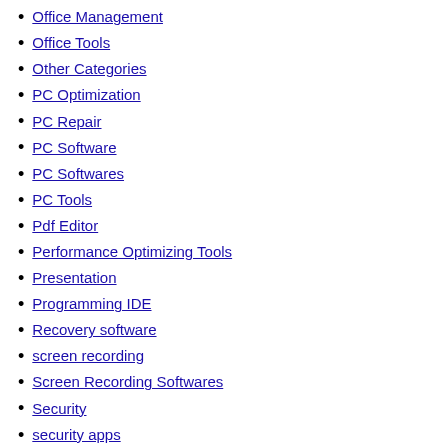Office Management
Office Tools
Other Categories
PC Optimization
PC Repair
PC Software
PC Softwares
PC Tools
Pdf Editor
Performance Optimizing Tools
Presentation
Programming IDE
Recovery software
screen recording
Screen Recording Softwares
Security
security apps
Security Software
software
software program
Software Uninstalling Tools
Sound Editor
Special
Speech
Streaming